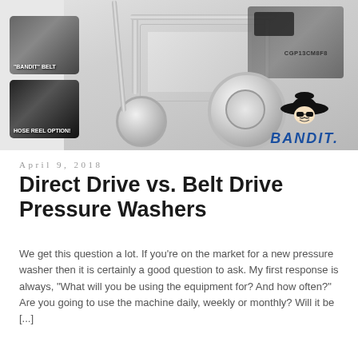[Figure (photo): Photo of a Bandit brand pressure washer (belt drive), labeled CGP13CM8F8, with two inset thumbnail images: one showing 'BANDIT BELT' and one showing 'HOSE REEL OPTION!', plus the Bandit logo with cowboy mascot]
April 9, 2018
Direct Drive vs. Belt Drive Pressure Washers
We get this question a lot. If you're on the market for a new pressure washer then it is certainly a good question to ask. My first response is always, "What will you be using the equipment for? And how often?" Are you going to use the machine daily, weekly or monthly? Will it be [...]